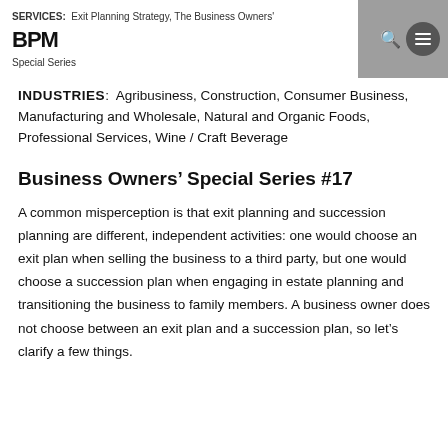SERVICES: Exit Planning Strategy, The Business Owners' Special Series BPM
INDUSTRIES: Agribusiness, Construction, Consumer Business, Manufacturing and Wholesale, Natural and Organic Foods, Professional Services, Wine / Craft Beverage
Business Owners’ Special Series #17
A common misperception is that exit planning and succession planning are different, independent activities: one would choose an exit plan when selling the business to a third party, but one would choose a succession plan when engaging in estate planning and transitioning the business to family members. A business owner does not choose between an exit plan and a succession plan, so let’s clarify a few things.